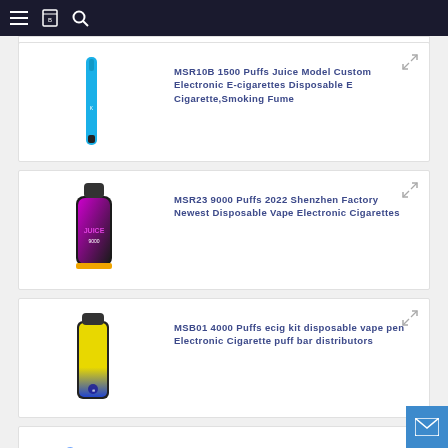Navigation bar with menu, bookmark, and search icons
MSR10B 1500 Puffs Juice Model Custom Electronic E-cigarettes Disposable E Cigarette,Smoking Fume
MSR23 9000 Puffs 2022 Shenzhen Factory Newest Disposable Vape Electronic Cigarettes
MSB01 4000 Puffs ecig kit disposable vape pen Electronic Cigarette puff bar distributors
MS002 2500 Puffs Shenzhen Hot Selling 400mA Rechargeable Battery Disposable Vape